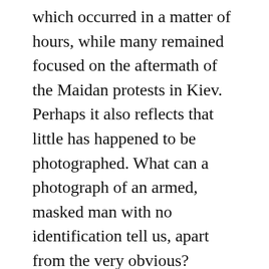which occurred in a matter of hours, while many remained focused on the aftermath of the Maidan protests in Kiev. Perhaps it also reflects that little has happened to be photographed. What can a photograph of an armed, masked man with no identification tell us, apart from the very obvious? Occasional visual references to Fenton's photographs of the 1853 Crimean war (square crops, shallow depth of field, perhaps a hint of desaturation) are about as sophisticated as the photographic commentary seems to have got, but it's an aesthetic comparison which offers little real insight into a crisis which is different in so many ways.